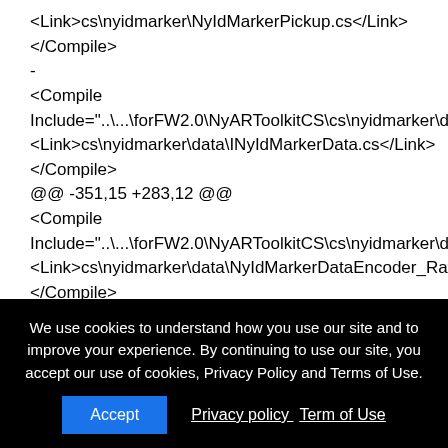<Link>cs\nyidmarker\NyIdMarkerPickup.cs</Link>
</Compile>
-
<Compile Include="..\..\forFW2.0\NyARToolkitCS\cs\nyidmarker\data\INyIdMarkerData.cs">
<Link>cs\nyidmarker\data\INyIdMarkerData.cs</Link>
</Compile>
@@ -351,15 +283,12 @@
<Compile Include="..\..\forFW2.0\NyARToolkitCS\cs\nyidmarker\data\NyIdMarkerDataEncoder_RawBit.cs">
<Link>cs\nyidmarker\data\NyIdMarkerDataEncoder_RawBit.cs</Link>
</Compile>
-
<Compile
We use cookies to understand how you use our site and to improve your experience. By continuing to use our site, you accept our use of cookies, Privacy Policy and Terms of Use.
Accept  Privacy policy  Term of Use